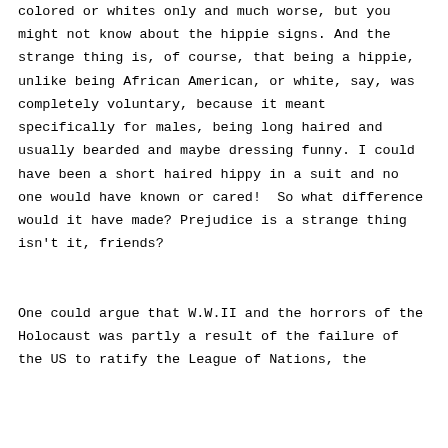colored or whites only and much worse, but you might not know about the hippie signs. And the strange thing is, of course, that being a hippie, unlike being African American, or white, say, was completely voluntary, because it meant specifically for males, being long haired and usually bearded and maybe dressing funny. I could have been a short haired hippy in a suit and no one would have known or cared!  So what difference would it have made? Prejudice is a strange thing isn't it, friends?

One could argue that W.W.II and the horrors of the Holocaust was partly a result of the failure of the US to ratify the League of Nations, the